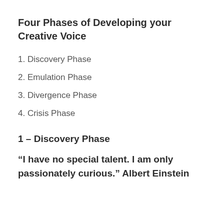Four Phases of Developing your Creative Voice
1. Discovery Phase
2. Emulation Phase
3. Divergence Phase
4. Crisis Phase
1 – Discovery Phase
“I have no special talent. I am only passionately curious.” Albert Einstein